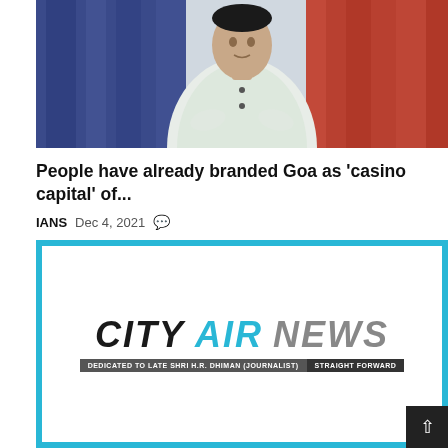[Figure (photo): A man in a white kurta standing in front of colorful curtains (blue and red/orange)]
People have already branded Goa as 'casino capital' of...
IANS  Dec 4, 2021  [comment icon]
[Figure (logo): City Air News logo with tagline 'DEDICATED TO LATE SHRI H.R. DHIMAN (JOURNALIST)  STRAIGHT FORWARD' inside a cyan/blue bordered box]